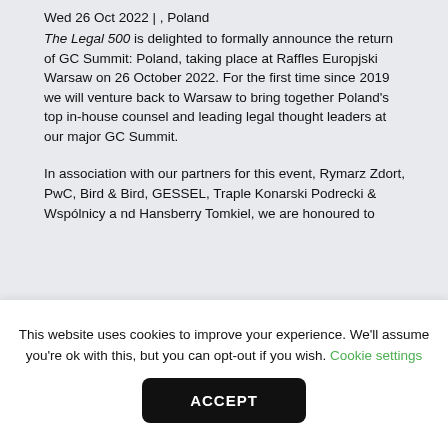Wed 26 Oct 2022 | , Poland
The Legal 500 is delighted to formally announce the return of GC Summit: Poland, taking place at Raffles Europjski Warsaw on 26 October 2022. For the first time since 2019 we will venture back to Warsaw to bring together Poland's top in-house counsel and leading legal thought leaders at our major GC Summit.
In association with our partners for this event, Rymarz Zdort, PwC, Bird & Bird, GESSEL, Traple Konarski Podrecki & Wspólnicy and Hansberry Tomkiel, we are honoured to
This website uses cookies to improve your experience. We'll assume you're ok with this, but you can opt-out if you wish. Cookie settings